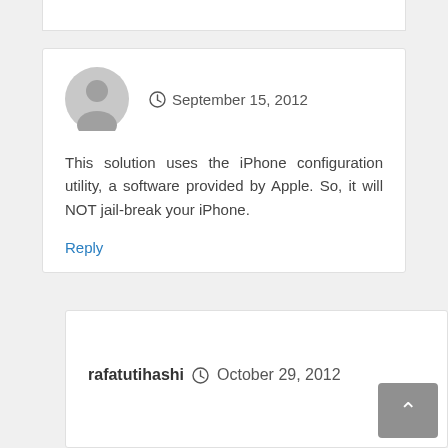September 15, 2012
This solution uses the iPhone configuration utility, a software provided by Apple. So, it will NOT jail-break your iPhone.
Reply
rafatutihashi   October 29, 2012